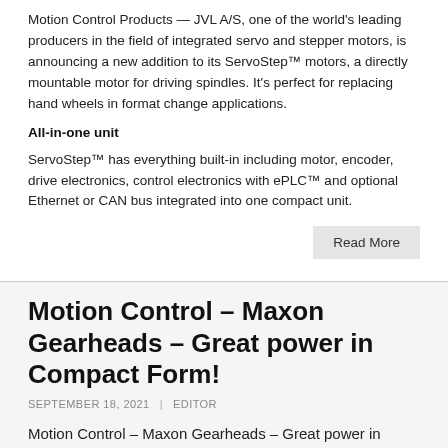Motion Control Products — JVL A/S, one of the world's leading producers in the field of integrated servo and stepper motors, is announcing a new addition to its ServoStep™ motors, a directly mountable motor for driving spindles. It's perfect for replacing hand wheels in format change applications.
All-in-one unit
ServoStep™ has everything built-in including motor, encoder, drive electronics, control electronics with ePLC™ and optional Ethernet or CAN bus integrated into one compact unit.
Read More
Motion Control – Maxon Gearheads – Great power in Compact Form!
SEPTEMBER 18, 2021  |  EDITOR
Motion Control – Maxon Gearheads – Great power in Compact Form!